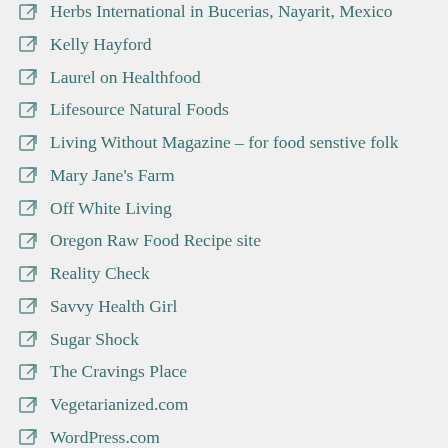Herbs International in Bucerias, Nayarit, Mexico
Kelly Hayford
Laurel on Healthfood
Lifesource Natural Foods
Living Without Magazine – for food senstive folk
Mary Jane's Farm
Off White Living
Oregon Raw Food Recipe site
Reality Check
Savvy Health Girl
Sugar Shock
The Cravings Place
Vegetarianized.com
WordPress.com